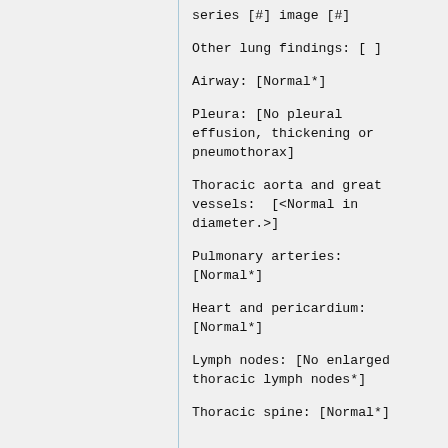series [#] image [#]
Other lung findings: [ ]
Airway: [Normal*]
Pleura: [No pleural effusion, thickening or pneumothorax]
Thoracic aorta and great vessels:  [<Normal in diameter.>]
Pulmonary arteries: [Normal*]
Heart and pericardium: [Normal*]
Lymph nodes: [No enlarged thoracic lymph nodes*]
Thoracic spine: [Normal*]